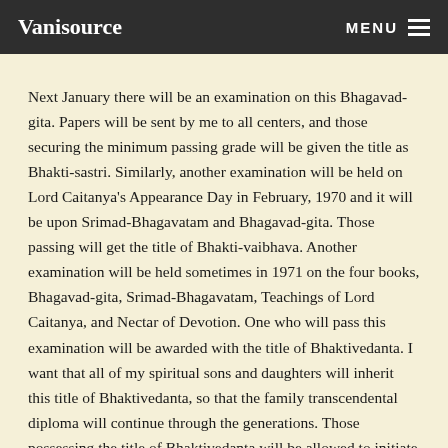Vanisource | MENU
Next January there will be an examination on this Bhagavad-gita. Papers will be sent by me to all centers, and those securing the minimum passing grade will be given the title as Bhakti-sastri. Similarly, another examination will be held on Lord Caitanya's Appearance Day in February, 1970 and it will be upon Srimad-Bhagavatam and Bhagavad-gita. Those passing will get the title of Bhakti-vaibhava. Another examination will be held sometimes in 1971 on the four books, Bhagavad-gita, Srimad-Bhagavatam, Teachings of Lord Caitanya, and Nectar of Devotion. One who will pass this examination will be awarded with the title of Bhaktivedanta. I want that all of my spiritual sons and daughters will inherit this title of Bhaktivedanta, so that the family transcendental diploma will continue through the generations. Those possessing the title of Bhaktivedanta will be allowed to initiate disciples. Maybe by 1975, all of my disciples will be allowed to initiate and increase the numbers of the